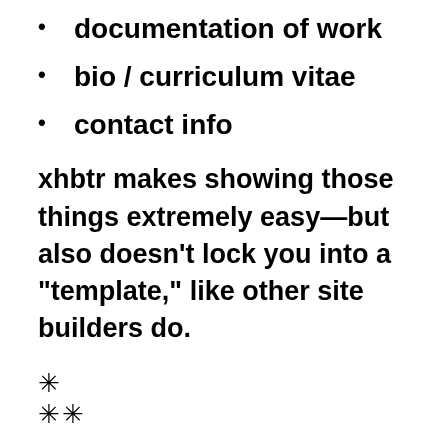documentation of work
bio / curriculum vitae
contact info
xhbtr makes showing those things extremely easy—but also doesn’t lock you into a “template,” like other site builders do.
✳
✳✳
There are really only a handful of strategies for showing bodies of work online—things like slideshows, grids of small thumbnail images, etc. xhbtr lets